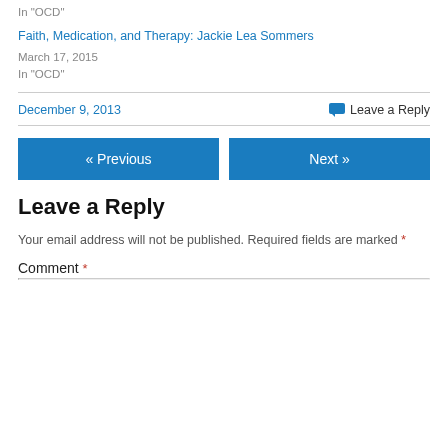In "OCD"
Faith, Medication, and Therapy: Jackie Lea Sommers
March 17, 2015
In "OCD"
December 9, 2013
Leave a Reply
« Previous
Next »
Leave a Reply
Your email address will not be published. Required fields are marked *
Comment *